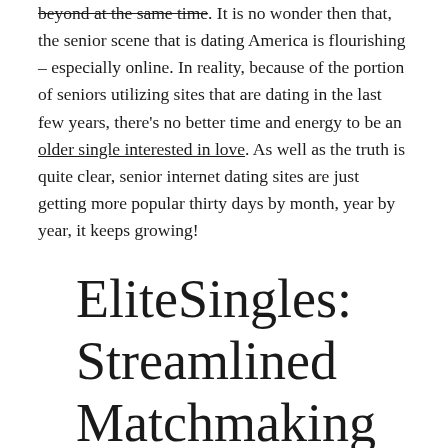beyond at the same time. It is no wonder then that, the senior scene that is dating America is flourishing – especially online. In reality, because of the portion of seniors utilizing sites that are dating in the last few years, there's no better time and energy to be an older single interested in love. As well as the truth is quite clear, senior internet dating sites are just getting more popular thirty days by month, year by year, it keeps growing!
EliteSingles: Streamlined Matchmaking for Mature Singles